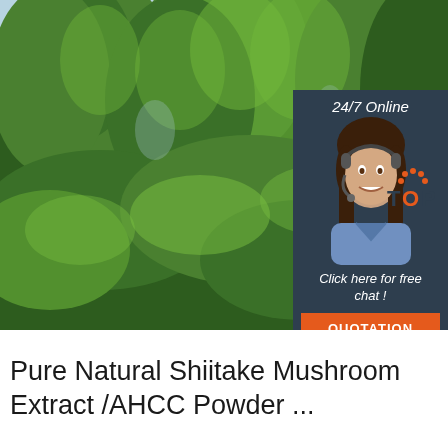[Figure (photo): Large photo of green conifer/fir trees against a light blue sky, filling the upper portion of the page. An inset chat widget overlay appears in the upper right showing '24/7 Online', a woman with a headset, 'Click here for free chat !', and an orange 'QUOTATION' button. A 'TOP' logo appears near the lower right of the photo.]
Pure Natural Shiitake Mushroom Extract /AHCC Powder ...